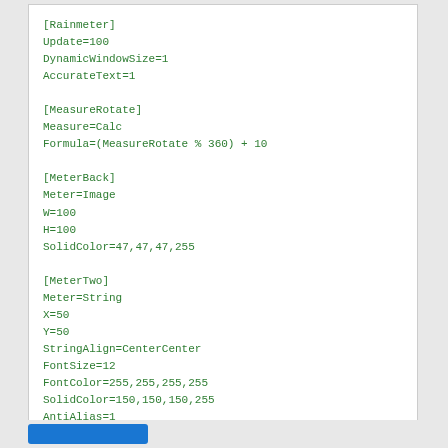[Rainmeter]
Update=100
DynamicWindowSize=1
AccurateText=1

[MeasureRotate]
Measure=Calc
Formula=(MeasureRotate % 360) + 10

[MeterBack]
Meter=Image
W=100
H=100
SolidColor=47,47,47,255

[MeterTwo]
Meter=String
X=50
Y=50
StringAlign=CenterCenter
FontSize=12
FontColor=255,255,255,255
SolidColor=150,150,150,255
AntiAlias=1
Text=Hello World
Angle=(Rad([MeasureRotate]))